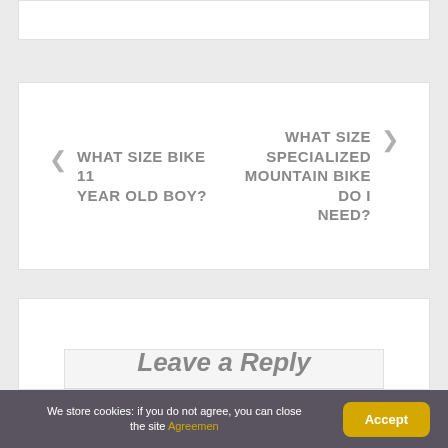WHAT SIZE BIKE 11 YEAR OLD BOY?
WHAT SIZE SPECIALIZED MOUNTAIN BIKE DO I NEED?
Leave a Reply
We store cookies: if you do not agree, you can close the site Agreemen